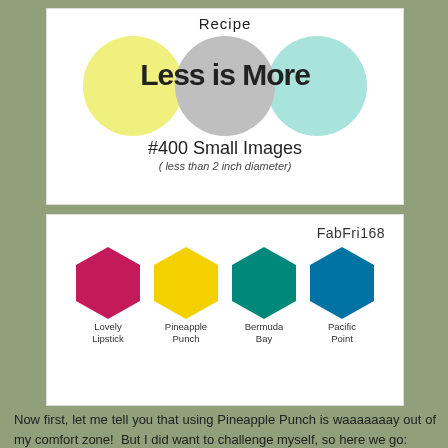[Figure (infographic): Less is More Recipe challenge card #400 Small Images with three overlapping circles in yellow, gray, and teal colors]
[Figure (infographic): FabFri168 color palette card showing four hexagon swatches: Lovely Lipstick (dark pink), Pineapple Punch (yellow), Bermuda Bay (teal/green), Pacific Point (dark blue)]
Now first, let me tell you that using Pineapple Punch is waaaaaaay out of my comfort zone!  But I did want to challenge myself, so here we go: